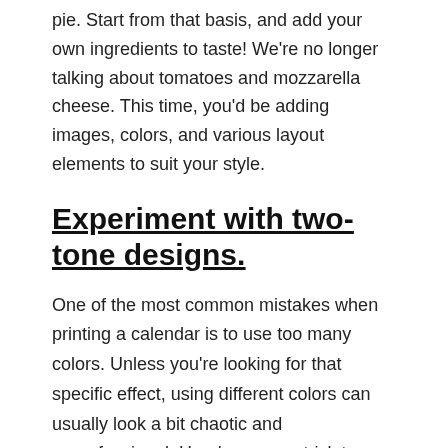pie. Start from that basis, and add your own ingredients to taste! We're no longer talking about tomatoes and mozzarella cheese. This time, you'd be adding images, colors, and various layout elements to suit your style.
Experiment with two-tone designs.
One of the most common mistakes when printing a calendar is to use too many colors. Unless you're looking for that specific effect, using different colors can usually look a bit chaotic and unprofessional. Here's an easy trick to make sure it doesn't happen to you. Try using a "two-tone" scheme for your calendar design. "Two-tone" means that you limit your color palette to only two color variations. Pick two colors that work well together, and let the simplicity of their synergy work wonders. Your calendar will look stylish, and amazing, with a really fantastic minimalistic touch. If you are not sure about how to choose the best color combination, the web can help you. There are many free websites